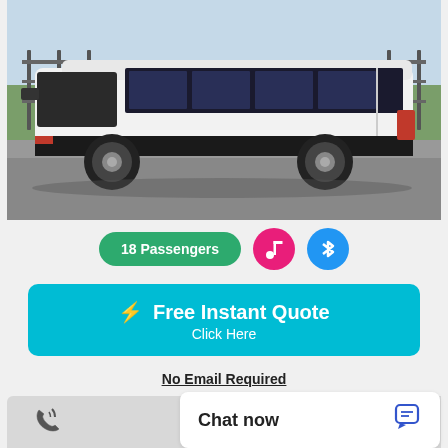[Figure (photo): Side view of a white minibus/minivan with dark tinted windows, parked on a road with iron fence and trees in background]
18 Passengers
[Figure (other): Music note icon badge (pink circle)]
[Figure (other): Bluetooth icon badge (blue circle)]
⚡ Free Instant Quote
Click Here
No Email Required
Chat now